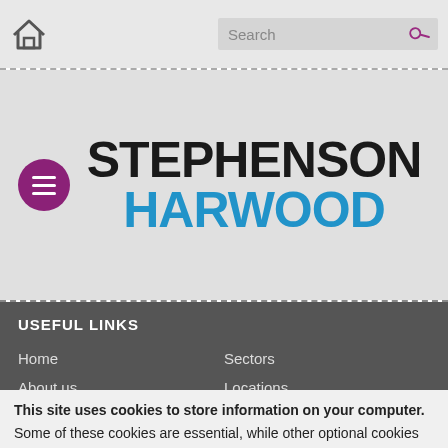Search
[Figure (logo): Stephenson Harwood law firm logo with home icon and search bar navigation]
USEFUL LINKS
Home
About us
People
Services
Sectors
Locations
News
Insights
This site uses cookies to store information on your computer. Some of these cookies are essential, while other optional cookies help us to analyse use of the site and improve your experience. We